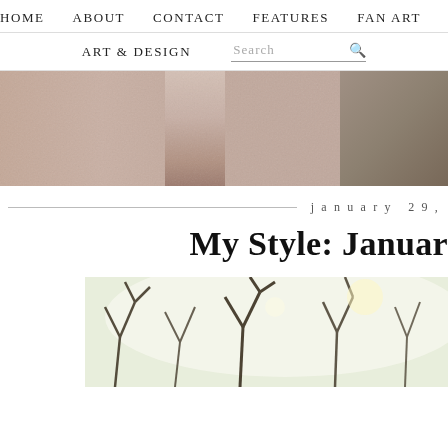HOME   ABOUT   CONTACT   FEATURES   FAN ART   ART & DESIGN   Search
[Figure (photo): Hero banner showing legs with heeled sandals on sandy ground, split into two panels]
january 29,
My Style: Januar
[Figure (photo): Wide banner photo of bare tree branches against bright sky]